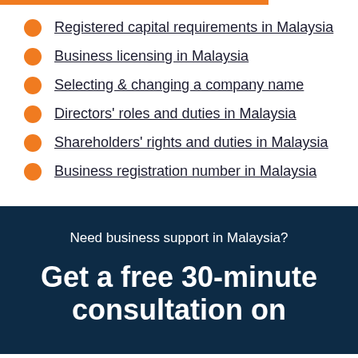Registered capital requirements in Malaysia
Business licensing in Malaysia
Selecting & changing a company name
Directors' roles and duties in Malaysia
Shareholders' rights and duties in Malaysia
Business registration number in Malaysia
Need business support in Malaysia?
Get a free 30-minute consultation on